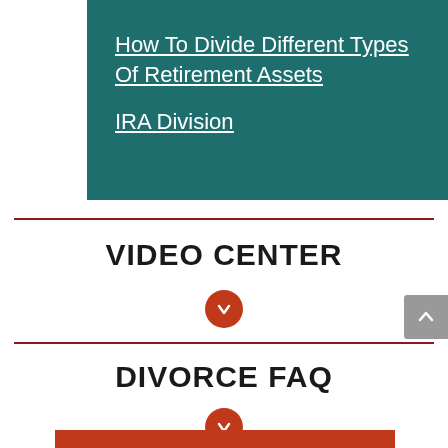[Figure (screenshot): Teal/dark green box with white underlined links: 'How To Divide Different Types Of Retirement Assets' and 'IRA Division']
VIDEO CENTER
[Figure (other): Orange/red circular button with downward arrow icon]
DIVORCE FAQ
[Figure (other): Orange/red circular button with downward arrow icon]
[Figure (other): Red horizontal bar at bottom of page]